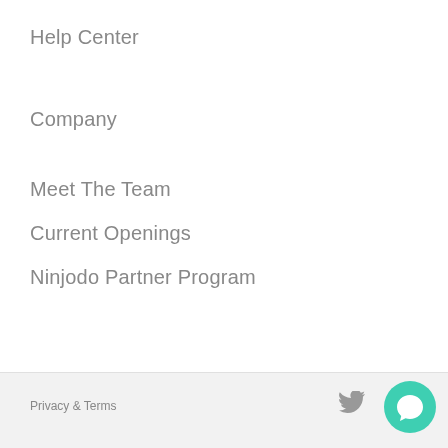Help Center
Company
Meet The Team
Current Openings
Ninjodo Partner Program
Privacy & Terms
[Figure (illustration): Twitter bird icon (gray) and a teal circular chat/support button with a speech bubble icon in white]